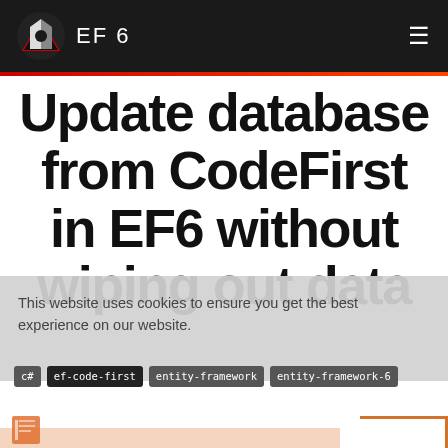EF 6
Update database from CodeFirst in EF6 without wiping out data
This website uses cookies to ensure you get the best experience on our website.
c#
ef-code-first
entity-framework
entity-framework-6
Question